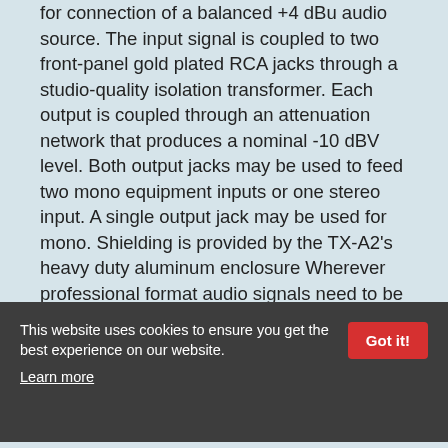for connection of a balanced +4 dBu audio source. The input signal is coupled to two front-panel gold plated RCA jacks through a studio-quality isolation transformer. Each output is coupled through an attenuation network that produces a nominal -10 dBV level. Both output jacks may be used to feed two mono equipment inputs or one stereo input. A single output jack may be used for mono. Shielding is provided by the TX-A2's heavy duty aluminum enclosure Wherever professional format audio signals need to be converted to an unbalanced line level, the TX-A2 and TX-A2D are an ideal choice. Use them individually or in conjunction with other RDL products as part of a complete audio system.
This website uses cookies to ensure you get the best experience on our website. Learn more
Unbalanced Audio Outputs from a